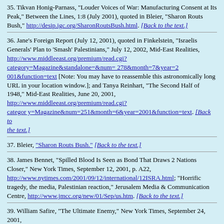35. Tikvan Honig-Parnass, "Louder Voices of War: Manufacturing Consent at Its Peak," Between the Lines, 1:8 (July 2001), quoted in Bleier, "Sharon Routs Bush," http://desip.igc.org/SharonRoutsBush.html. [Back to the text.]
36. Jane's Foreign Report (July 12, 2001), quoted in Finkelstein, "Israelis Generals' Plan to 'Smash' Palestinians," July 12, 2002, Mid-East Realities, http://www.middleeast.org/premium/read.cgi?category=Magazine&standalone=&num= 278&month=7&year=2001&function=text [Note: You may have to reassemble this astronomically long URL in your location window.]; and Tanya Reinhart, "The Second Half of 1948," Mid-East Realities, June 20, 2001, http://www.middleeast.org/premium/read.cgi?category=Magazine&num=251&month=6&year=2001&function=text. [Back to the text.]
37. Bleier, "Sharon Routs Bush." [Back to the text.]
38. James Bennet, "Spilled Blood Is Seen as Bond That Draws 2 Nations Closer," New York Times, September 12, 2001, p. A22, http://www.nytimes.com/2001/09/12/international/12ISRA.html; "Horrific tragedy, the media, Palestinian reaction," Jerusalem Media & Communication Centre, http://www.jmcc.org/new/01/Sep/us.htm. [Back to the text.]
39. William Safire, "The Ultimate Enemy," New York Times, September 24, 2001, http://www.embargos.de/irak/post1109/english/ultimate_enemy_nyt.htm. [Back to